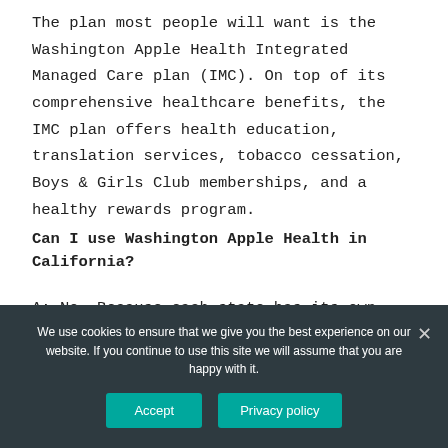The plan most people will want is the Washington Apple Health Integrated Managed Care plan (IMC). On top of its comprehensive healthcare benefits, the IMC plan offers health education, translation services, tobacco cessation, Boys & Girls Club memberships, and a healthy rewards program.
Can I use Washington Apple Health in California?
A: No. Because each state has its own Medicaid eligibility requirements, you can't just transfer coverage from one state to another, nor can you use your coverage when
We use cookies to ensure that we give you the best experience on our website. If you continue to use this site we will assume that you are happy with it.